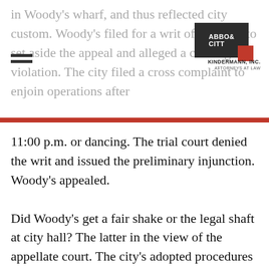in Woody's wharf, and thus reflected city custom. Woody's filed for a writ of mandate to set aside the appeal and alleged a civil rights violation. The city filed a cross complaint to enjoin operations after 11:00 p.m. or dancing. The trial court denied the writ and issued the preliminary injunction. Woody's appealed.
[Figure (logo): Abbott & Kindermann, Inc. attorneys at law logo — dark box with red square accent]
Did Woody's get a fair shake or the legal shaft at city hall? The latter in the view of the appellate court. The city's adopted procedures were specific as to how an appeal was to be processed. Appeals were allowed by interested persons, and necessitated the use of an approved form and payment of an appeal fee. The councilman's appeal did not follow these procedures. While the city claimed that the city had long employed an informal call up procedure for appeals by councilmembers, the appellate court